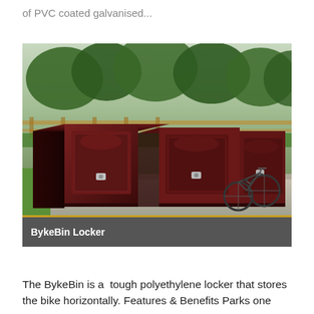of PVC coated galvanised...
[Figure (photo): Photo of BykeBin Lockers - dark maroon/brown polyethylene bike storage lockers arranged in a row outdoors, with a bicycle visible leaning against the rightmost locker. Background shows trees, grass, and a wooden fence.]
BykeBin Locker
The BykeBin is a tough polyethylene locker that stores the bike horizontally. Features & Benefits Parks one